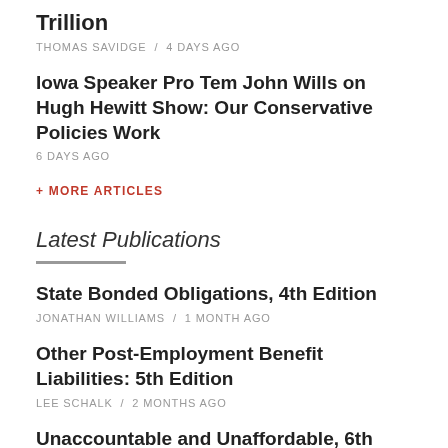Trillion
THOMAS SAVIDGE / 4 DAYS AGO
Iowa Speaker Pro Tem John Wills on Hugh Hewitt Show: Our Conservative Policies Work
6 DAYS AGO
+ MORE ARTICLES
Latest Publications
State Bonded Obligations, 4th Edition
JONATHAN WILLIAMS / 1 MONTH AGO
Other Post-Employment Benefit Liabilities: 5th Edition
LEE SCHALK / 2 MONTHS AGO
Unaccountable and Unaffordable, 6th Edition
LEE SCHALK / 2 MONTHS AGO